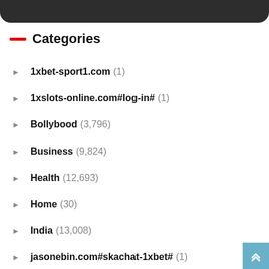[Figure (other): Dark rounded banner at top of page]
Categories
1xbet-sport1.com (1)
1xslots-online.com#log-in# (1)
Bollybood (3,796)
Business (9,824)
Health (12,693)
Home (30)
India (13,008)
jasonebin.com#skachat-1xbet# (1)
Latest Stories (13,070)
leonbetkz.com (1)